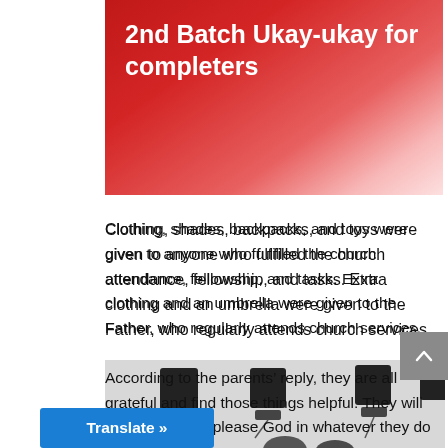2nd Batch Ukay-ukay for completers
Clothing, shades, backpacks, and toys were given to anyone who fulfilled the church attendance, fellowship, and tasks. Extra clothing and an umbrella were given to the Father, who regularly attends church services.
According to the parents’ reply, they are all grateful and find those things helpful. They will be reminded to please God in whatever they do regularly.
[Figure (photo): Photograph showing audio speakers/equipment mounted on a wall or ceiling, with people partially visible at the bottom.]
Translate »